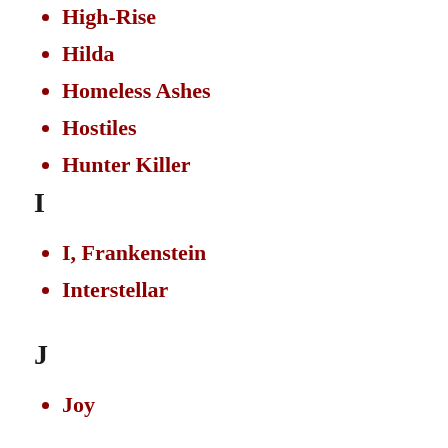High-Rise
Hilda
Homeless Ashes
Hostiles
Hunter Killer
I
I, Frankenstein
Interstellar
J
Joy